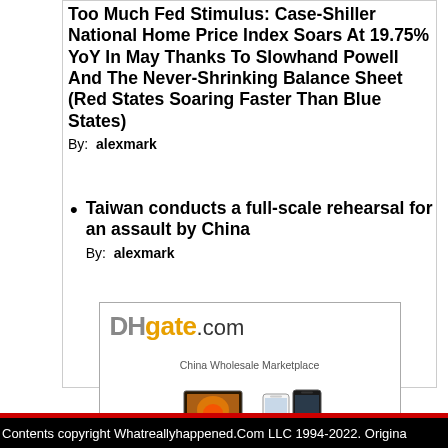Too Much Fed Stimulus: Case-Shiller National Home Price Index Soars At 19.75% YoY In May Thanks To Slowhand Powell And The Never-Shrinking Balance Sheet (Red States Soaring Faster Than Blue States)
By: alexmark
Taiwan conducts a full-scale rehearsal for an assault by China
By: alexmark
[Figure (illustration): DHgate.com advertisement banner showing the logo 'DHgate.com', tagline 'China Wholesale Marketplace', and product images of a laptop and mobile phones]
Contents copyright Whatreallyhappened.Com LLC 1994-2022. Origina